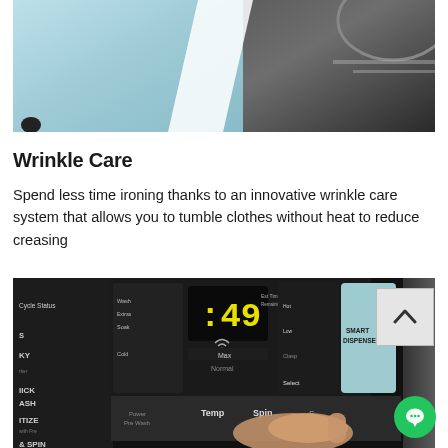[Figure (photo): Close-up photo of a light blue/teal fabric cloth on the left side and the dark metallic corner/edge of a washing machine appliance on the right side, split diagonally.]
Wrinkle Care
Spend less time ironing thanks to an innovative wrinkle care system that allows you to tumble clothes without heat to reduce creasing
[Figure (photo): Close-up photo of a washing machine control panel showing a digital display reading ':49', buttons labeled Temp, Spin, and a Smart Dispense compartment, with a hand pressing a button. Left side shows partial text: Cycle Status, KY, ICK ASH, ITIZE with Fre, & SPIN.]